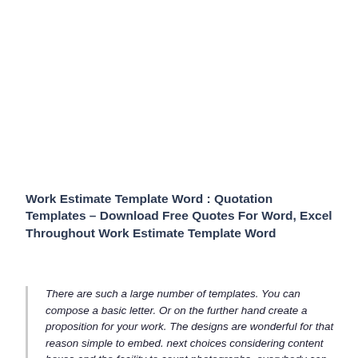Work Estimate Template Word : Quotation Templates – Download Free Quotes For Word, Excel Throughout Work Estimate Template Word
There are such a large number of templates. You can compose a basic letter. Or on the further hand create a proposition for your work. The designs are wonderful for that reason simple to embed. next choices considering content boxes and the facility to count photographs, everybody can point of view out capable looking chronicles utilizing Microsoft Work Estimate Template